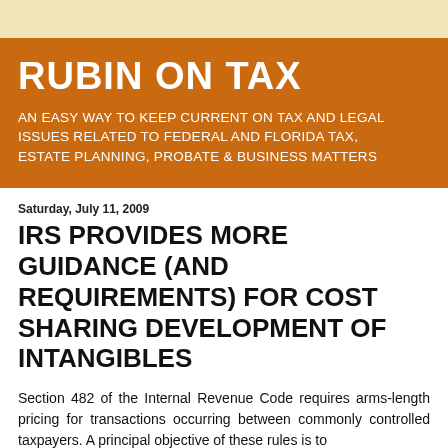RUBIN ON TAX
AN EASY WAY TO KEEP CURRENT ON TAX AND LEGAL ISSUES RELATED TO FEDERAL AND FLORIDA TAX, ESTATE PLANNING, PROBATE & BUSINESS MATTERS
Saturday, July 11, 2009
IRS PROVIDES MORE GUIDANCE (AND REQUIREMENTS) FOR COST SHARING DEVELOPMENT OF INTANGIBLES
Section 482 of the Internal Revenue Code requires arms-length pricing for transactions occurring between commonly controlled taxpayers. A principal objective of these rules is to